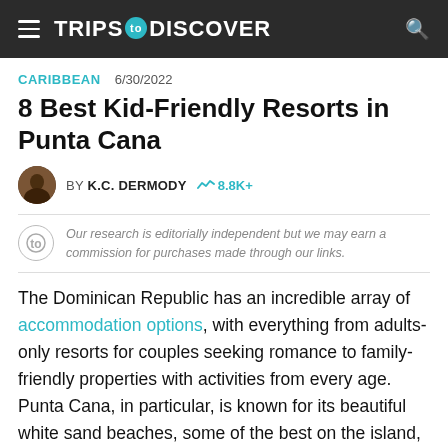TRIPS TO DISCOVER
CARIBBEAN  6/30/2022
8 Best Kid-Friendly Resorts in Punta Cana
BY K.C. DERMODY  8.8K+
Our research is editorially independent but we may earn a commission for purchases made through our links.
The Dominican Republic has an incredible array of accommodation options, with everything from adults-only resorts for couples seeking romance to family-friendly properties with activities from every age. Punta Cana, in particular, is known for its beautiful white sand beaches, some of the best on the island, all framed by crystal-clear azure warm waters. Choose one of these